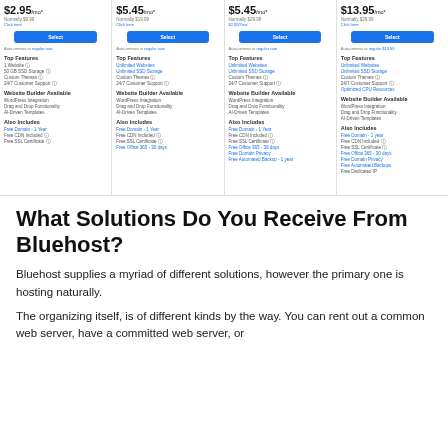[Figure (screenshot): Bluehost hosting plans comparison showing 4 columns: $2.95/mo*, $5.45/mo*, $5.45/mo*, $13.95/mo* with features listed under each plan including Top Features, Website Builder Available, Also Includes sections with Select buttons.]
What Solutions Do You Receive From Bluehost?
Bluehost supplies a myriad of different solutions, however the primary one is hosting naturally.
The organizing itself, is of different kinds by the way. You can rent out a common web server, have a committed web server, or